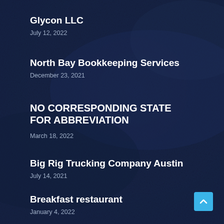Glycon LLC
July 12, 2022
North Bay Bookkeeping Services
December 23, 2021
NO CORRESPONDING STATE FOR ABBREVIATION
March 18, 2022
Big Rig Trucking Company Austin
July 14, 2021
Breakfast restaurant
January 4, 2022